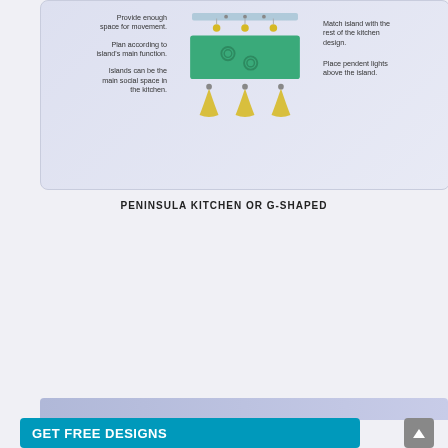[Figure (infographic): Kitchen island design infographic showing top-view diagram of a kitchen island with pendant lights, stools, and callout tips on both sides]
Provide enough space for movement.
Plan according to island's main function.
Islands can be the main social space in the kitchen.
Match island with the rest of the kitchen design.
Place pendent lights above the island.
PENINSULA KITCHEN OR G-SHAPED
[Figure (infographic): Peninsula kitchen G-shaped floor plan diagram showing L-shaped counter layout, appliances, triangle work zone, and tall appliance area]
Use peninsula as breakfast corner.
Maximize storage.
Group tall appliances together.
Don't break the kitchen triangle.
GET FREE DESIGNS